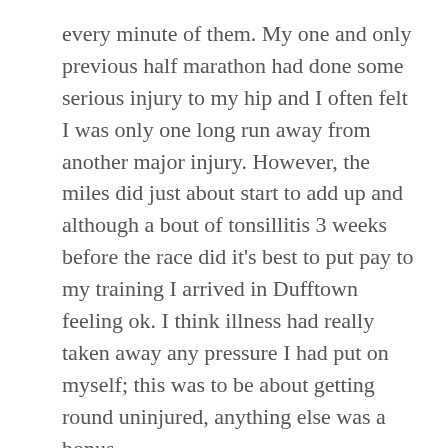every minute of them. My one and only previous half marathon had done some serious injury to my hip and I often felt I was only one long run away from another major injury. However, the miles did just about start to add up and although a bout of tonsillitis 3 weeks before the race did it's best to put pay to my training I arrived in Dufftown feeling ok. I think illness had really taken away any pressure I had put on myself; this was to be about getting round uninjured, anything else was a bonus.
We stayed at the delightful Hillside Havens just outside Dufftown. Thankfully we'd picked convenient accommodation as race day started with a fairly major alarm clock malfunction resulting in Tom almost missing the bus out to the start of the marathon